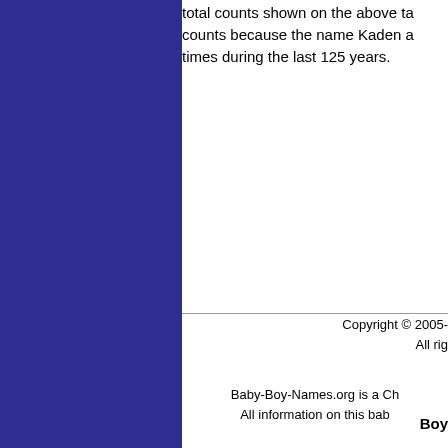total counts shown on the above ta counts because the name Kaden a times during the last 125 years.
Copyright © 2005-  All rig Baby-Boy-Names.org is a Ch All information on this bab Boy